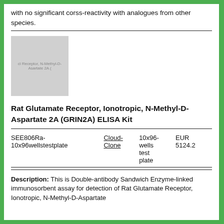with no significant corss-reactivity with analogues from other species.
[Figure (photo): Product image placeholder for Rat Glutamate Receptor, Ionotropic, N-Methyl-D-Aspartate 2A (GRIN2A) ELISA Kit]
Rat Glutamate Receptor, Ionotropic, N-Methyl-D-Aspartate 2A (GRIN2A) ELISA Kit
| SEE806Ra-10x96wellstestplate | Cloud-Clone | 10x96-wells test plate | EUR 5124.2 |
Description: This is Double-antibody Sandwich Enzyme-linked immunosorbent assay for detection of Rat Glutamate Receptor, Ionotropic, N-Methyl-D-Aspartate